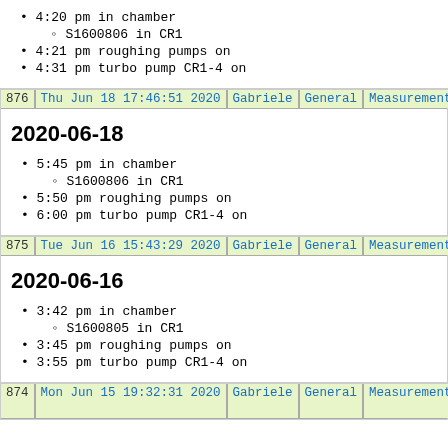4:20 pm in chamber
S1600806 in CR1
4:21 pm roughing pumps on
4:31 pm turbo pump CR1-4 on
| 876 | Thu Jun 18 17:46:51 2020 | Gabriele | General | Measurements | S1600806 |
| --- | --- | --- | --- | --- | --- |
2020-06-18
5:45 pm in chamber
S1600806 in CR1
5:50 pm roughing pumps on
6:00 pm turbo pump CR1-4 on
| 875 | Tue Jun 16 15:43:29 2020 | Gabriele | General | Measurements | S1600805 |
| --- | --- | --- | --- | --- | --- |
2020-06-16
3:42 pm in chamber
S1600805 in CR1
3:45 pm roughing pumps on
3:55 pm turbo pump CR1-4 on
| 874 | Mon Jun 15 19:32:31 2020 | Gabriele | General | Measurements | S1600803 GaAs |
| --- | --- | --- | --- | --- | --- |